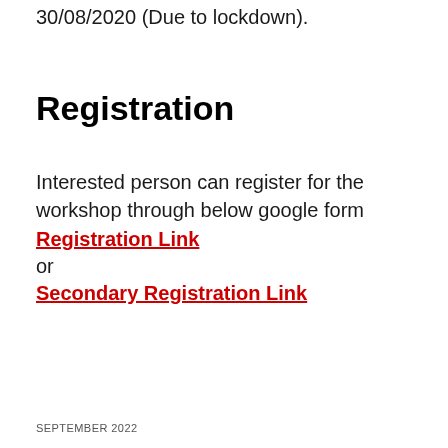30/08/2020 (Due to lockdown).
Registration
Interested person can register for the workshop through below google form
Registration Link
or
Secondary Registration Link
SEPTEMBER 2022